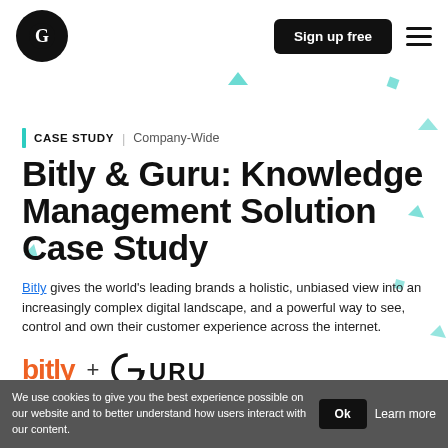Guru logo | Sign up free | Menu
CASE STUDY | Company-Wide
Bitly & Guru: Knowledge Management Solution Case Study
Bitly gives the world's leading brands a holistic, unbiased view into an increasingly complex digital landscape, and a powerful way to see, control and own their customer experience across the internet.
[Figure (logo): Bitly orange logo text + plus sign + GURU logo in black]
We use cookies to give you the best experience possible on our website and to better understand how users interact with our content.
Ok
Learn more